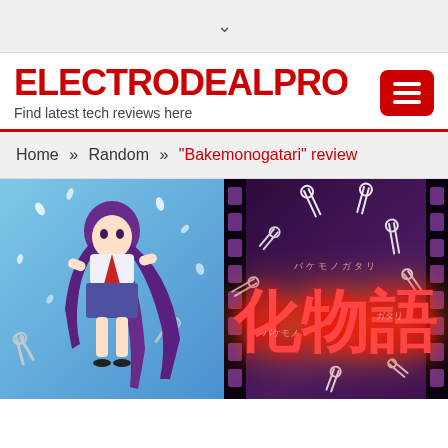▾
ELECTRODEALPRO
Find latest tech reviews here
Home » Random » "Bakemonogatari" review
[Figure (illustration): Bakemonogatari anime review header image. Left half shows an anime girl character with long purple hair in a school uniform against a blue sky background with white petals and scissors. Right half shows the Japanese title '化物語' (Bakemonogatari) in glowing red text on a dark purple background with film strip borders and scattered white scissors.]